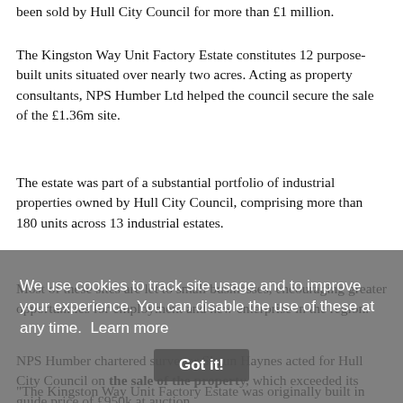been sold by Hull City Council for more than £1 million.
The Kingston Way Unit Factory Estate constitutes 12 purpose-built units situated over nearly two acres. Acting as property consultants, NPS Humber Ltd helped the council secure the sale of the £1.36m site.
The estate was part of a substantial portfolio of industrial properties owned by Hull City Council, comprising more than 180 units across 13 industrial estates.
Most of these sites are let to small businesses, encouraging greater opportunities for employment and new enterprise in the region.
NPS Humber chartered surveyor Shaun Haynes acted for Hull City Council on the sale of the property, which exceeded its guide price of £950k at auction.
"The Kingston Way Unit Factory Estate was originally built in